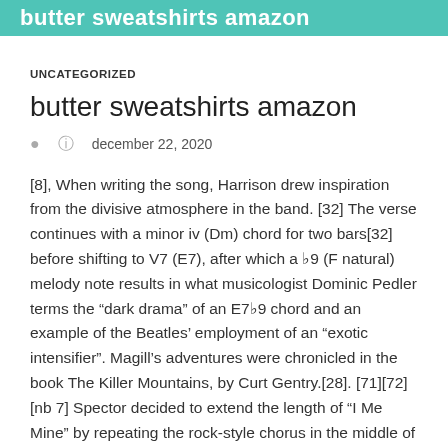butter sweatshirts amazon
UNCATEGORIZED
butter sweatshirts amazon
december 22, 2020
[8], When writing the song, Harrison drew inspiration from the divisive atmosphere in the band. [32] The verse continues with a minor iv (Dm) chord for two bars[32] before shifting to V7 (E7), after which a ♭9 (F natural) melody note results in what musicologist Dominic Pedler terms the "dark drama" of an E7♭9 chord and an example of the Beatles' employment of an "exotic intensifier". Magill's adventures were chronicled in the book The Killer Mountains, by Curt Gentry.[28]. [71][72][nb 7] Spector decided to extend the length of "I Me Mine" by repeating the rock-style chorus in the middle of the song and the second verse. Code: 841396330 - Copy it! [63], Aside from vocals, the overdubs on take 16 were two distorted electric lead